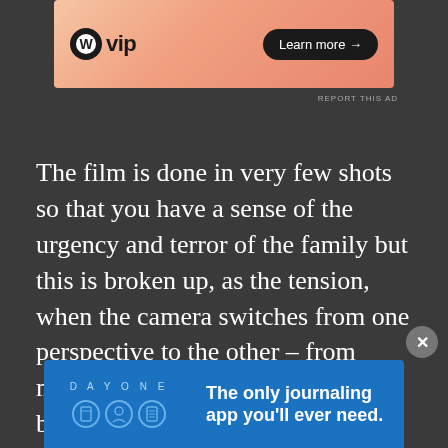[Figure (screenshot): WordPress VIP advertisement banner with orange gradient background, WP logo, 'vip' text, and 'Learn more →' button]
REPORT THIS AD
The film is done in very few shots so that you have a sense of the urgency and terror of the family but this is broken up, as the tension, when the camera switches from one perspective to the other – from mother and daughter held captive by two of the men at the home to the father out with the third getting money from ATMs. Had the film kept the viewer as in the dark as the family is it would have made the film that much more powerful
[Figure (screenshot): Day One journaling app advertisement with blue background, icons, and tagline 'The only journaling app you'll ever need.']